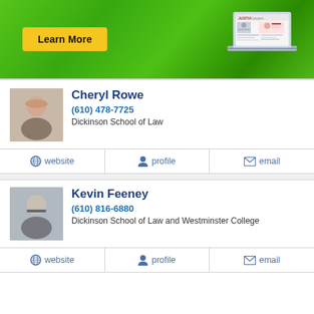[Figure (screenshot): Green banner with Learn More button and Justia laptop illustration]
Cheryl Rowe
(610) 478-7725
Dickinson School of Law
website
profile
email
Kevin Feeney
(610) 816-6880
Dickinson School of Law and Westminster College
website
profile
email